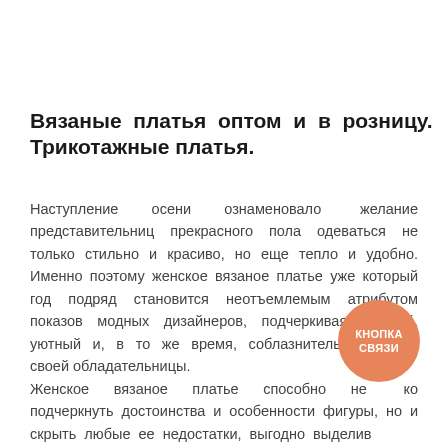Вязаные платья оптом и в розницу. Трикотажные платья.
Наступление осени ознаменовало желание представительниц прекрасного пола одеваться не только стильно и красиво, но еще тепло и удобно. Именно поэтому женское вязаное платье уже который год подряд становится неотъемлемым атрибутом показов модных дизайнеров, подчеркивая нежный, уютный и, в то же время, соблазнительный образ своей обладательницы. Женское вязаное платье способно не только подчеркнуть достоинства и особенности фигуры, но и скрыть любые ее недостатки, выгодно выделив